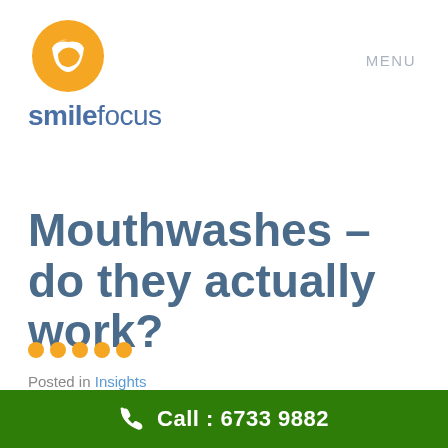[Figure (logo): Smile Focus dental clinic logo: orange circle with white smile/tooth graphic above, text 'smilefocus' in blue-grey below]
MENU
Mouthwashes – do they actually work?
Posted in Insights
Call : 6733 9882